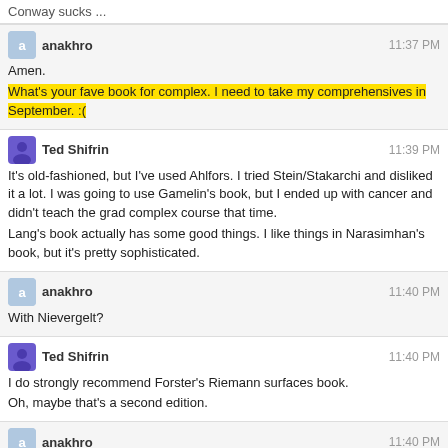Conway sucks ...
anakhro   11:37 PM
Amen.
What's your fave book for complex. I need to take my comprehensives in September. :(
Ted Shifrin   11:39 PM
It's old-fashioned, but I've used Ahlfors. I tried Stein/Stakarchi and disliked it a lot. I was going to use Gamelin's book, but I ended up with cancer and didn't teach the grad complex course that time.
Lang's book actually has some good things. I like things in Narasimhan's book, but it's pretty sophisticated.
anakhro   11:40 PM
With Nievergelt?
Ted Shifrin   11:40 PM
I do strongly recommend Forster's Riemann surfaces book.
Oh, maybe that's a second edition.
anakhro   11:40 PM
Probably. I will take a look at Forster's.
So how exactly do the residues manifest themselves geometrically with the forms? Or is it just the naive integration of forms?
I know next to nil about complex geometry, so I don't know if there is any nuances here.
Ted Shifrin   11:43 PM
You define the residue to be $1/(2\pi i)$ times the integral around any suitably small